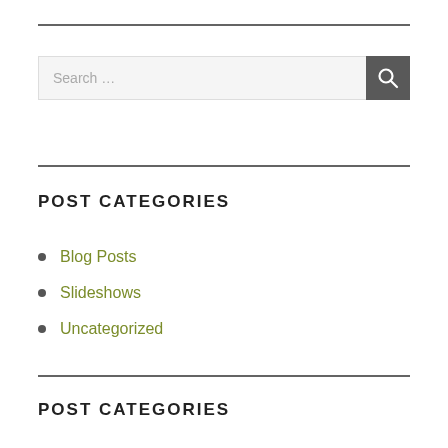[Figure (screenshot): Search bar with text input field showing placeholder 'Search ...' and a dark grey search button with magnifying glass icon]
POST CATEGORIES
Blog Posts
Slideshows
Uncategorized
POST CATEGORIES